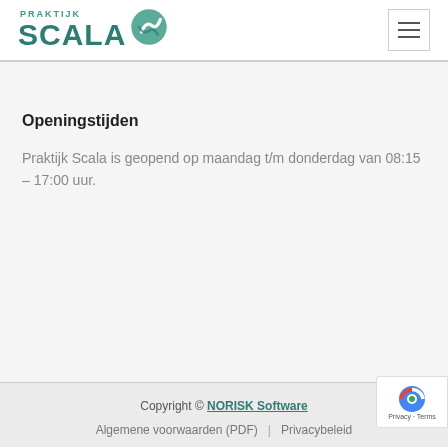[Figure (logo): Praktijk Scala logo with teal text and circular icon]
Openingstijden
Praktijk Scala is geopend op maandag t/m donderdag van 08:15 – 17:00 uur.
Copyright © NORISK Software
Algemene voorwaarden (PDF) | Privacybeleid